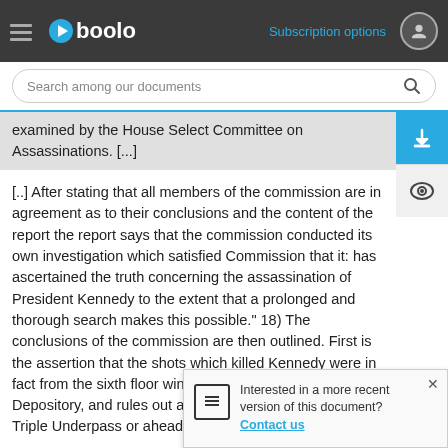[Figure (screenshot): Gboolo document viewer website header with hamburger menu, Gboolo logo with arrow icon, Subscription options link, and user profile icon]
[Figure (screenshot): Search bar with placeholder text 'Search among our documents' and a search icon on the right]
examined by the House Select Committee on Assassinations. [...]
[..] After stating that all members of the commission are in agreement as to their conclusions and the content of the report the report says that the commission conducted its own investigation which satisfied Commission that it: has ascertained the truth concerning the assassination of President Kennedy to the extent that a prolonged and thorough search makes this possible." 18) The conclusions of the commission are then outlined. First is the assertion that the shots which killed Kennedy were in fact from the sixth floor window of the Texas School Book Depository, and rules out any other locations such as the Triple Underpass or ahead of the motorcade. [...]
Interested in a more recent version of this document? Contact us